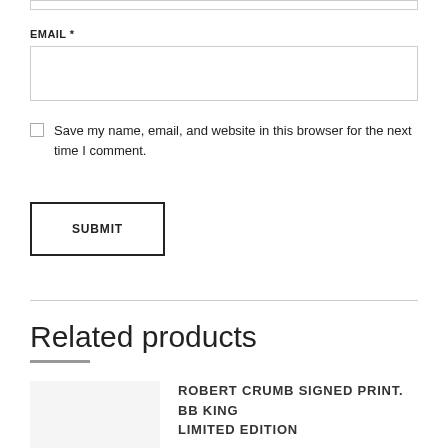[top input box]
EMAIL *
[email input field]
Save my name, email, and website in this browser for the next time I comment.
SUBMIT
Related products
ROBERT CRUMB SIGNED PRINT. BB KING LIMITED EDITION